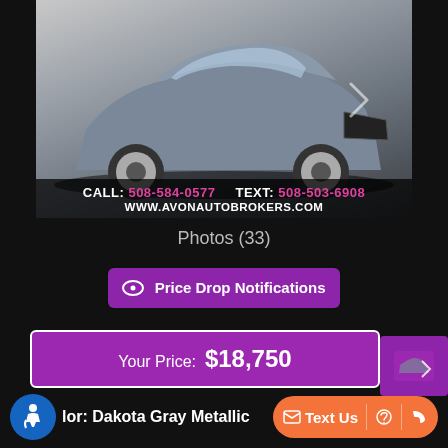[Figure (photo): Gray Audi A5 coupe on dealer lot, front three-quarter view]
CALL: 508-584-0577  TEXT: 508-503-6908
WWW.AVONAUTOBROKERS.COM
Photos (33)
Price Drop Notifications
Your Price: $18,750
Color: Dakota Gray Metallic
Text Us